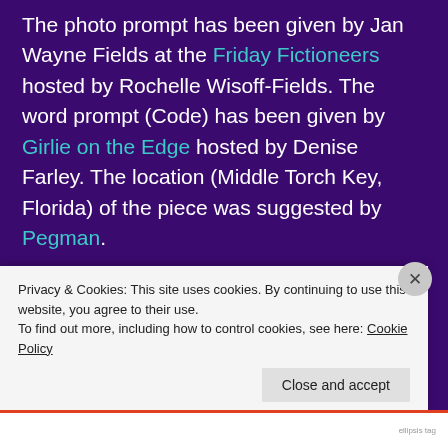The photo prompt has been given by Jan Wayne Fields at the Friday Fictioneers hosted by Rochelle Wisoff-Fields. The word prompt (Code) has been given by Girlie on the Edge hosted by Denise Farley. The location (Middle Torch Key, Florida) of the piece was suggested by Pegman.
[Figure (screenshot): Advertisement showing a Day One journaling app with a phone screenshot and teal background. Labeled 'Advertisements' above.]
Privacy & Cookies: This site uses cookies. By continuing to use this website, you agree to their use.
To find out more, including how to control cookies, see here: Cookie Policy
Close and accept